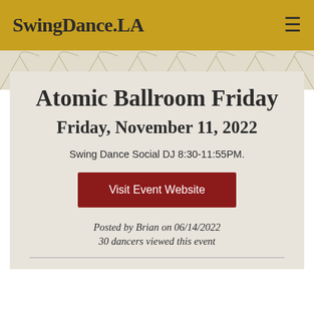SwingDance.LA
Atomic Ballroom Friday
Friday, November 11, 2022
Swing Dance Social DJ 8:30-11:55PM.
Visit Event Website
Posted by Brian on 06/14/2022
30 dancers viewed this event